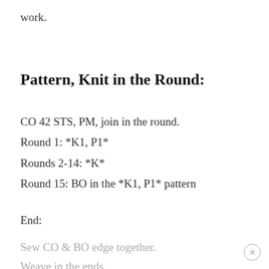work.
Pattern, Knit in the Round:
CO 42 STS, PM, join in the round.
Round 1: *K1, P1*
Rounds 2-14: *K*
Round 15: BO in the *K1, P1* pattern
End:
Sew CO & BO edge together.
Weave in the ends.